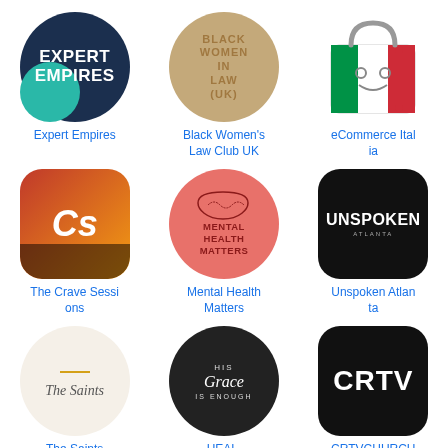[Figure (logo): Expert Empires logo - dark navy circle with teal accent and white text]
Expert Empires
[Figure (logo): Black Women in Law UK logo - tan/brown circle with embossed text]
Black Women's Law Club UK
[Figure (logo): eCommerce Italia logo - shopping bag with Italian flag colors]
eCommerce Italia
[Figure (logo): The Crave Sessions logo - CS initials on concert crowd background]
The Crave Sessions
[Figure (logo): Mental Health Matters logo - brain illustration on pink/red circle]
Mental Health Matters
[Figure (logo): Unspoken Atlanta logo - white text on black rounded square]
Unspoken Atlanta
[Figure (logo): The Saints logo - script text on cream circle with gold accent]
The Saints
[Figure (logo): HEAL. logo - His Grace Is Enough text on dark circle]
HEAL.
[Figure (logo): CRTVCHURCH logo - CRTV white text on black rounded square]
CRTVCHURCH
[Figure (logo): Partial view of a dark purple circular logo at bottom]